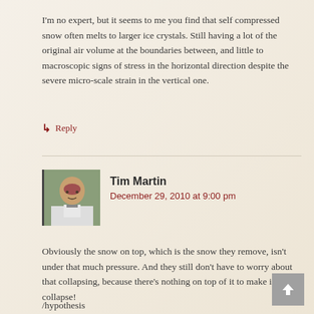I'm no expert, but it seems to me you find that self compressed snow often melts to larger ice crystals. Still having a lot of the original air volume at the boundaries between, and little to macroscopic signs of stress in the horizontal direction despite the severe micro-scale strain in the vertical one.
↳ Reply
Tim Martin
December 29, 2010 at 9:00 pm
Obviously the snow on top, which is the snow they remove, isn't under that much pressure. And they still don't have to worry about that collapsing, because there's nothing on top of it to make it collapse!
/hypothesis